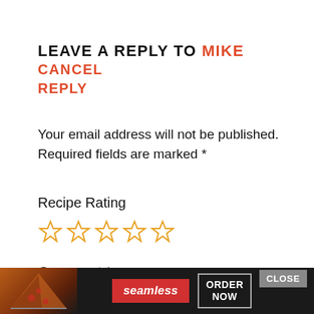LEAVE A REPLY TO MIKE CANCEL REPLY
Your email address will not be published. Required fields are marked *
Recipe Rating
[Figure (other): Five star rating widget showing 5 empty/outline orange stars]
Comment *
[Figure (other): Seamless food delivery advertisement banner with pizza image, seamless logo, CLOSE button, and ORDER NOW button]